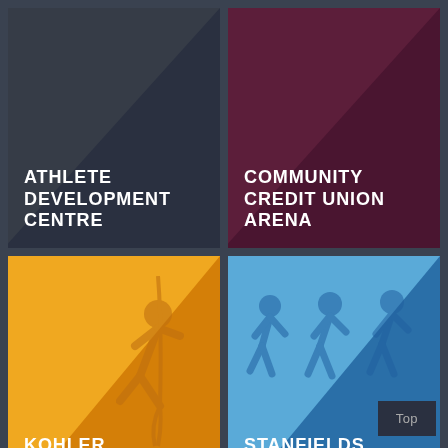[Figure (infographic): Athlete Development Centre tile - dark gray background with diagonal triangle decoration]
ATHLETE DEVELOPMENT CENTRE
[Figure (infographic): Community Credit Union Arena tile - dark maroon background with diagonal triangle decoration]
COMMUNITY CREDIT UNION ARENA
[Figure (infographic): Kohler Climbing Wall tile - orange background with climbing figure icon and diagonal triangle decorations]
KOHLER CLIMBING WALL
[Figure (infographic): Stanfields Walking Track tile - blue background with walking figures icon and diagonal triangle decorations]
STANFIELDS WALKING TRACK
Top